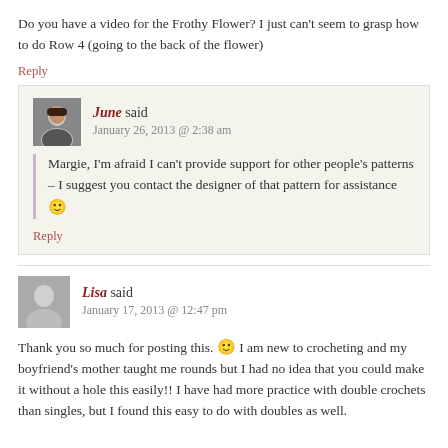Do you have a video for the Frothy Flower? I just can't seem to grasp how to do Row 4 (going to the back of the flower)
Reply
June said
January 26, 2013 @ 2:38 am
Margie, I'm afraid I can't provide support for other people's patterns – I suggest you contact the designer of that pattern for assistance 🙂
Reply
Lisa said
January 17, 2013 @ 12:47 pm
Thank you so much for posting this. 🙂 I am new to crocheting and my boyfriend's mother taught me rounds but I had no idea that you could make it without a hole this easily!! I have had more practice with double crochets than singles, but I found this easy to do with doubles as well.